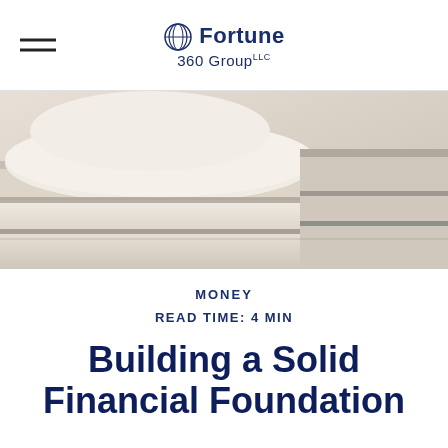Fortune 360 Group LLC
[Figure (photo): Close-up photo of white/cream marble steps and column base, architectural detail]
MONEY
READ TIME: 4 MIN
Building a Solid Financial Foundation